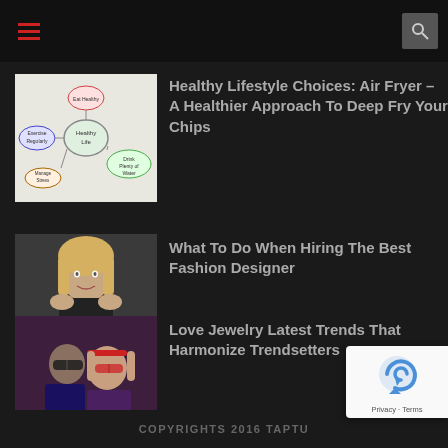Navigation bar with hamburger menu and search icon
Healthy Lifestyle Choices: Air Fryer – A Healthier Approach To Deep Fry Your Chips
What To Do When Hiring The Best Fashion Designer
Love Jewelry Latest Trends That Harmonize Trendsetters
COPYRIGHTS 2016 TAPTU